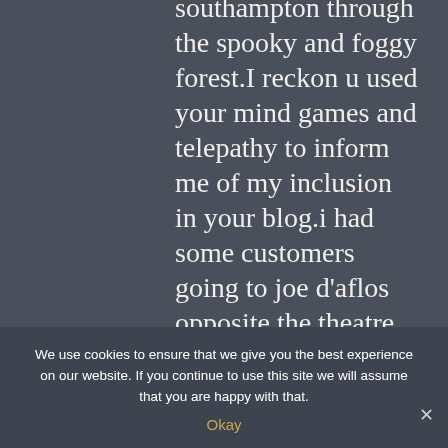southampton through the spooky and foggy forest.I reckon u used your mind games and telepathy to inform me of my inclusion in your blog.i had some customers going to joe d'aflos opposite the theatre last night and i told them that that place has had the most famous people in it
We use cookies to ensure that we give you the best experience on our website. If you continue to use this site we will assume that you are happy with that.
Okay